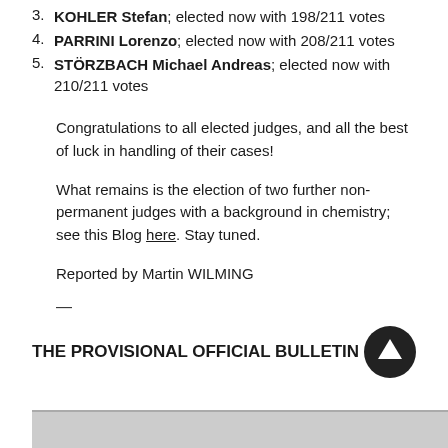3. KOHLER Stefan; elected now with 198/211 votes
4. PARRINI Lorenzo; elected now with 208/211 votes
5. STÖRZBACH Michael Andreas; elected now with 210/211 votes
Congratulations to all elected judges, and all the best of luck in handling of their cases!
What remains is the election of two further non-permanent judges with a background in chemistry; see this Blog here. Stay tuned.
Reported by Martin WILMING
—
THE PROVISIONAL OFFICIAL BULLETIN
[Figure (other): Upward arrow navigation button (circular, dark background)]
[Figure (screenshot): Bottom portion of a document or bulletin partially visible]